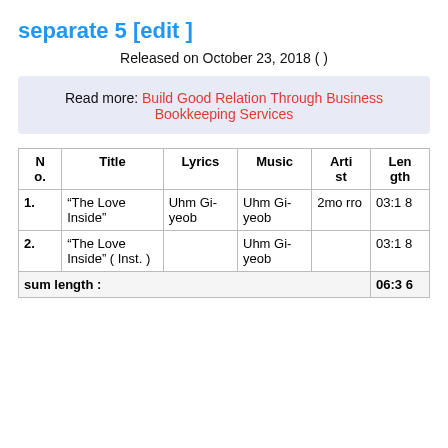separate 5 [edit ]
Released on October 23, 2018 ( )
Read more: Build Good Relation Through Business Bookkeeping Services
| No. | Title | Lyrics | Music | Artist | Length |
| --- | --- | --- | --- | --- | --- |
| 1. | “The Love Inside” | Uhm Gi-yeob | Uhm Gi-yeob | 2morro | 03:18 |
| 2. | “The Love Inside” ( Inst. ) |  | Uhm Gi-yeob |  | 03:18 |
| sum length : |  |  |  |  | 06:36 |